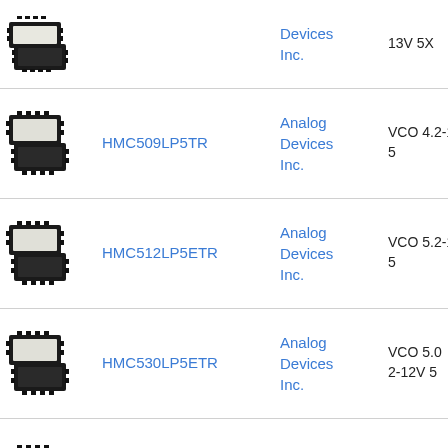| Image | Part | Manufacturer | Description |
| --- | --- | --- | --- |
| [chip image] | HMC509LP5TR | Analog Devices Inc. | VCO 4.2-13V 5X... |
| [chip image] | HMC512LP5ETR | Analog Devices Inc. | VCO 5.2-13V 5... |
| [chip image] | HMC530LP5ETR | Analog Devices Inc. | VCO 5.0-12V 5... |
| [chip image] | HMC508LP5E | Analog Devices Inc. | VCO 3.875GHz 13V 5X... |
| [chip image] | HMC1160LP5ETR | Analog Devices | VCO 4.4-13V 5... |